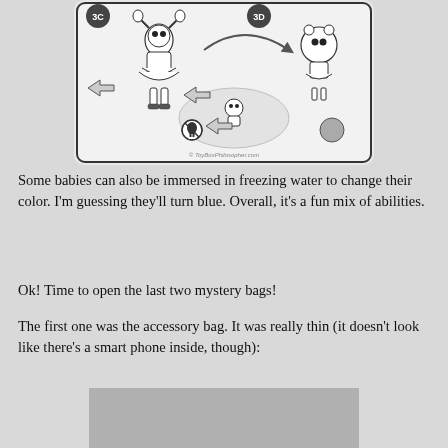[Figure (illustration): Instruction diagram showing LOL Surprise doll steps 3C and 3D. Step 3C shows a doll figure with pigtails and frilly skirt with arrows indicating water immersion activity. Step 3D shows the doll after transformation. A skull icon with a no symbol is shown and arrows indicate the process. Watermark reads ToyBoxPhilosopher.com]
Some babies can also be immersed in freezing water to change their color.  I'm guessing they'll turn blue.  Overall, it's a fun mix of abilities.
Ok!  Time to open the last two mystery bags!
The first one was the accessory bag.  It was really thin (it doesn't look like there's a smart phone inside, though):
[Figure (photo): Partially visible image of a thin flat bag or packaging, shown at the bottom of the page, gray colored.]